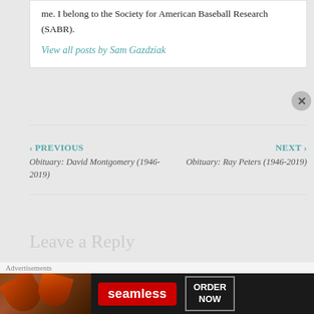me. I belong to the Society for American Baseball Research (SABR).
View all posts by Sam Gazdziak
‹ PREVIOUS
Obituary: David Montgomery (1946-2019)
NEXT ›
Obituary: Ray Peters (1946-2019)
Leave a Reply
Your email address will not be published.
[Figure (screenshot): Seamless food delivery advertisement banner with pizza image, red Seamless logo, and ORDER NOW button]